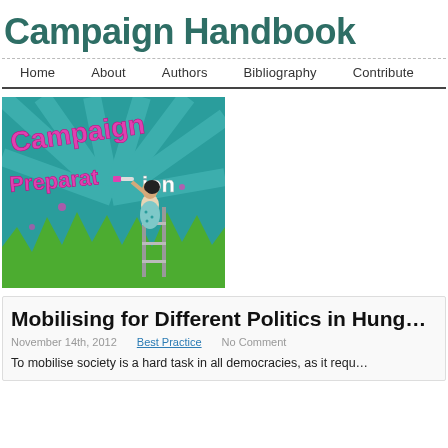Campaign Handbook
Home | About | Authors | Bibliography | Contribute | Map
[Figure (illustration): Campaign Preparation illustration showing a woman on a ladder painting text that reads 'Campaign Preparation' in pink/magenta on a teal background with green grass elements]
Mobilising for Different Politics in Hung…
November 14th, 2012   Best Practice   No Comment
To mobilise society is a hard task in all democracies, as it requ…